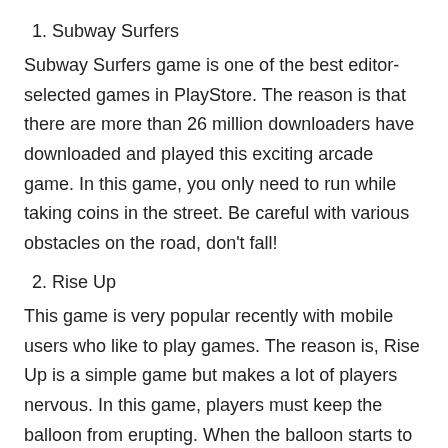1. Subway Surfers
Subway Surfers game is one of the best editor-selected games in PlayStore. The reason is that there are more than 26 million downloaders have downloaded and played this exciting arcade game. In this game, you only need to run while taking coins in the street. Be careful with various obstacles on the road, don't fall!
2. Rise Up
This game is very popular recently with mobile users who like to play games. The reason is, Rise Up is a simple game but makes a lot of players nervous. In this game, players must keep the balloon from erupting. When the balloon starts to float into the air, from the air there will be lots of blocks and various obstacles that might make the balloon erupt. Now, the